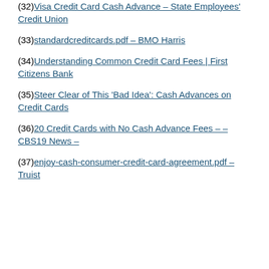(32) Visa Credit Card Cash Advance – State Employees' Credit Union
(33) standardcreditcards.pdf – BMO Harris
(34) Understanding Common Credit Card Fees | First Citizens Bank
(35) Steer Clear of This 'Bad Idea': Cash Advances on Credit Cards
(36) 20 Credit Cards with No Cash Advance Fees – – CBS19 News –
(37) enjoy-cash-consumer-credit-card-agreement.pdf – Truist